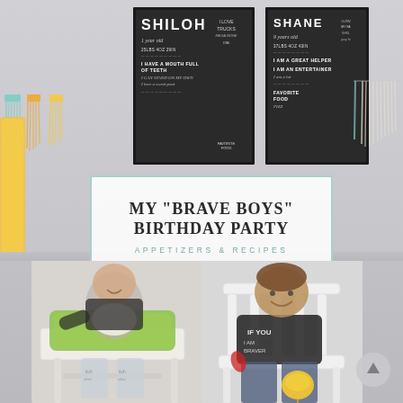[Figure (photo): Birthday party scene showing two dark-framed chalkboard prints on a grey wall with names SHILOH and SHANE containing birthday stats, colorful tassels and party decorations hanging on the left and right sides. A semi-transparent white overlay box with teal border in the center displays the title text. Bottom half shows two young boys: a baby/toddler in a green high chair on the left, and an older boy in a white chair on the right wearing a black t-shirt and holding a yellow balloon.]
MY "BRAVE BOYS" BIRTHDAY PARTY
APPETIZERS & RECIPES